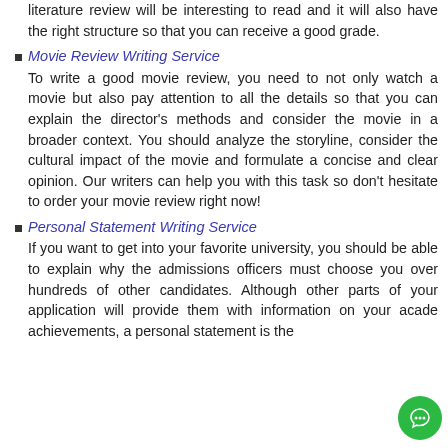literature review will be interesting to read and it will also have the right structure so that you can receive a good grade.
Movie Review Writing Service
To write a good movie review, you need to not only watch a movie but also pay attention to all the details so that you can explain the director's methods and consider the movie in a broader context. You should analyze the storyline, consider the cultural impact of the movie and formulate a concise and clear opinion. Our writers can help you with this task so don't hesitate to order your movie review right now!
Personal Statement Writing Service
If you want to get into your favorite university, you should be able to explain why the admissions officers must choose you over hundreds of other candidates. Although other parts of your application will provide them with information on your acade achievements, a personal statement is the